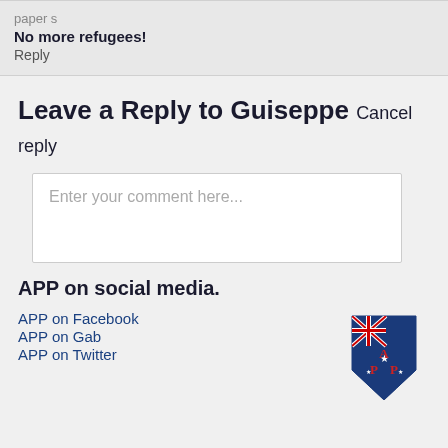paper s
No more refugees!
Reply
Leave a Reply to Guiseppe Cancel reply
Enter your comment here...
APP on social media.
APP on Facebook
APP on Gab
APP on Twitter
[Figure (logo): APP shield logo with Australian flag and letters A, P, P]